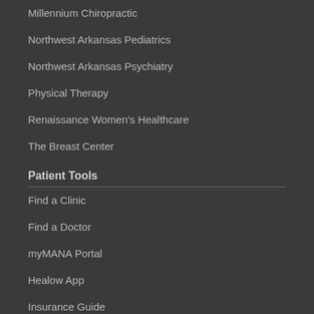Millennium Chiropractic
Northwest Arkansas Pediatrics
Northwest Arkansas Psychiatry
Physical Therapy
Renaissance Women's Healthcare
The Breast Center
Patient Tools
Find a Clinic
Find a Doctor
myMANA Portal
Healow App
Insurance Guide
New Patients
Patient Forms
Patient Survey
About MANA